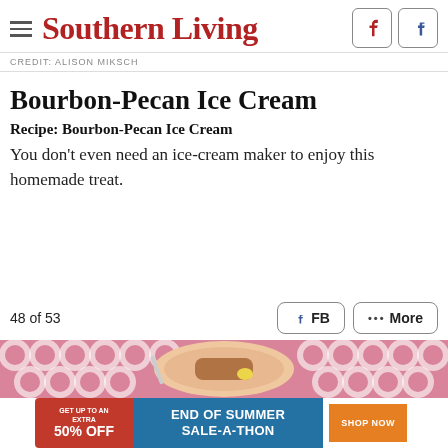Southern Living
CREDIT: ALISON MIKSCH
Bourbon-Pecan Ice Cream
Recipe: Bourbon-Pecan Ice Cream
You don't even need an ice-cream maker to enjoy this homemade treat.
48 of 53
[Figure (photo): Photo strip showing food dish on pink patterned background]
[Figure (infographic): Advertisement banner: GET UP TO AN EXTRA 50% OFF | END OF SUMMER SALE-A-THON | SHOP NOW]